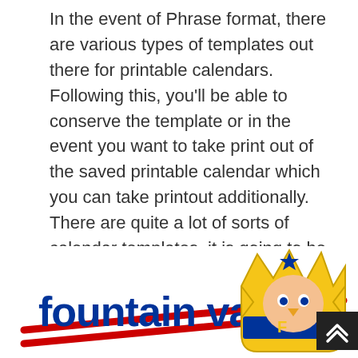In the event of Phrase format, there are various types of templates out there for printable calendars. Following this, you'll be able to conserve the template or in the event you want to take print out of the saved printable calendar which you can take printout additionally. There are quite a lot of sorts of calendar templates, it is going to be no drawback to find the one that you're trying to find from the listing beneath. There are kinds of templates of the printable calendar 2019 which you can use in response to your requirement or desire. It's attainable to make use of a Training Calendar Template, for instance, to assist with scheduling the crucial coaching modules for employees.
[Figure (logo): Fountain Valley logo with blue bold text 'fountain valley', red swoosh lines, and a yellow/blue crown mascot on the right]